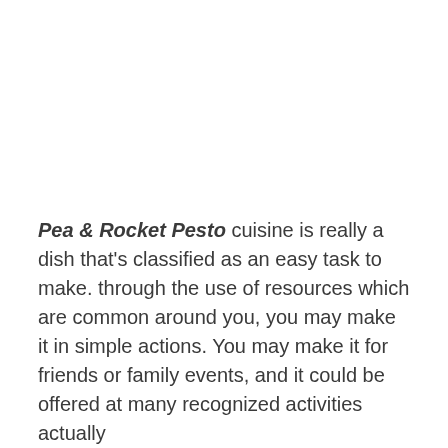Pea & Rocket Pesto cuisine is really a dish that's classified as an easy task to make. through the use of resources which are common around you, you may make it in simple actions. You may make it for friends or family events, and it could be offered at many recognized activities actually